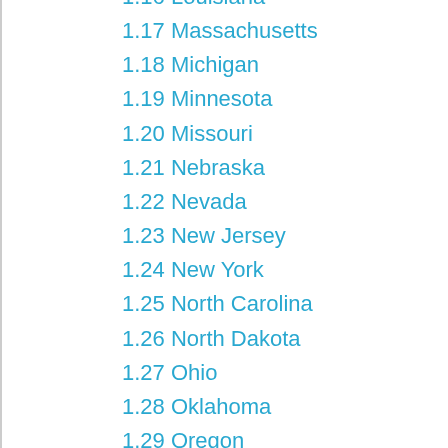1.17 Massachusetts
1.18 Michigan
1.19 Minnesota
1.20 Missouri
1.21 Nebraska
1.22 Nevada
1.23 New Jersey
1.24 New York
1.25 North Carolina
1.26 North Dakota
1.27 Ohio
1.28 Oklahoma
1.29 Oregon
1.30 Pennsylvania
1.31 Rhode Island
1.32 South Carolina
1.33 Tennessee